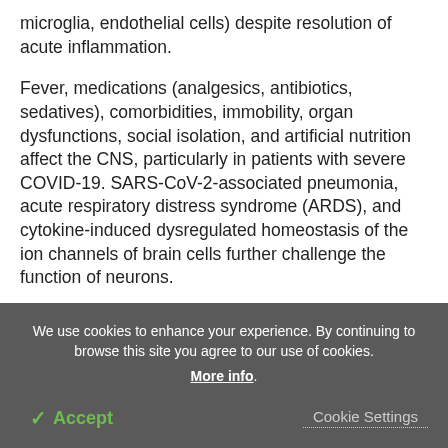microglia, endothelial cells) despite resolution of acute inflammation.
Fever, medications (analgesics, antibiotics, sedatives), comorbidities, immobility, organ dysfunctions, social isolation, and artificial nutrition affect the CNS, particularly in patients with severe COVID-19. SARS-CoV-2-associated pneumonia, acute respiratory distress syndrome (ARDS), and cytokine-induced dysregulated homeostasis of the ion channels of brain cells further challenge the function of neurons.
We use cookies to enhance your experience. By continuing to browse this site you agree to our use of cookies. More info.
✓ Accept
Cookie Settings